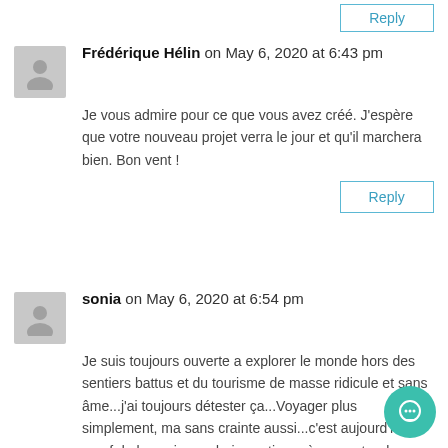Frédérique Hélin on May 6, 2020 at 6:43 pm
Je vous admire pour ce que vous avez créé. J'espère que votre nouveau projet verra le jour et qu'il marchera bien. Bon vent !
Reply
sonia on May 6, 2020 at 6:54 pm
Je suis toujours ouverte a explorer le monde hors des sentiers battus et du tourisme de masse ridicule et sans âme...j'ai toujours détester ça...Voyager plus simplement, ma sans crainte aussi...c'est aujourd'hui une f de luxe...je voudrais continuer à rencontrer les autres, connaître leur environnement et leur